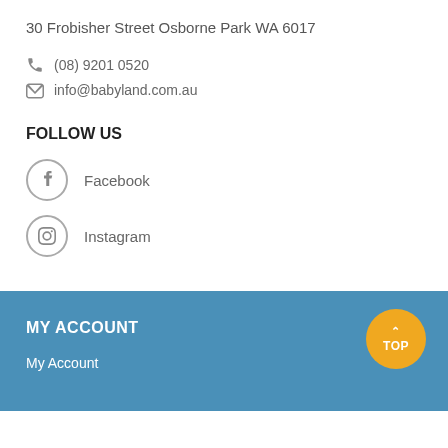30 Frobisher Street Osborne Park WA 6017
(08) 9201 0520
info@babyland.com.au
FOLLOW US
Facebook
Instagram
MY ACCOUNT
My Account